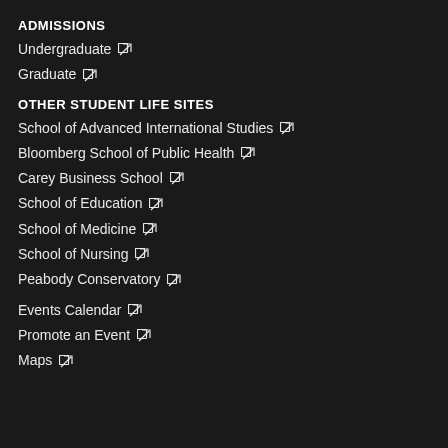ADMISSIONS
Undergraduate ↗
Graduate ↗
OTHER STUDENT LIFE SITES
School of Advanced International Studies ↗
Bloomberg School of Public Health ↗
Carey Business School ↗
School of Education ↗
School of Medicine ↗
School of Nursing ↗
Peabody Conservatory ↗
Events Calendar ↗
Promote an Event ↗
Maps ↗